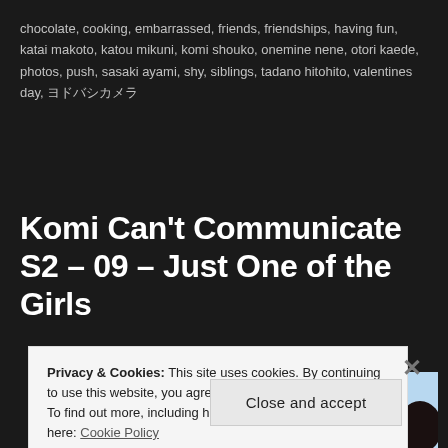chocolate, cooking, embarrassed, friends, friendships, having fun, katai makoto, katou mikuni, komi shouko, onemine nene, otori kaede, photos, push, sasaki ayami, shy, siblings, tadano hitohito, valentines day, ヨドバシカメラ
Komi Can't Communicate S2 – 09 – Just One of the Girls
[Figure (screenshot): Anime screenshot from Komi Can't Communicate showing several school-age characters in anime style, with a school building in the background on the left and a scenic outdoor area on the right.]
Privacy & Cookies: This site uses cookies. By continuing to use this website, you agree to their use.
To find out more, including how to control cookies, see here: Cookie Policy
Close and accept